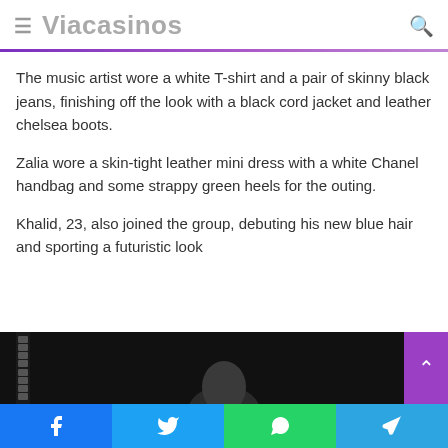Viacasinos
The music artist wore a white T-shirt and a pair of skinny black jeans, finishing off the look with a black cord jacket and leather chelsea boots.
Zalia wore a skin-tight leather mini dress with a white Chanel handbag and some strappy green heels for the outing.
Khalid, 23, also joined the group, debuting his new blue hair and sporting a futuristic look
[Figure (photo): Partial photo of a person against a dark/black background, showing head and upper torso, with a film strip element on the left side.]